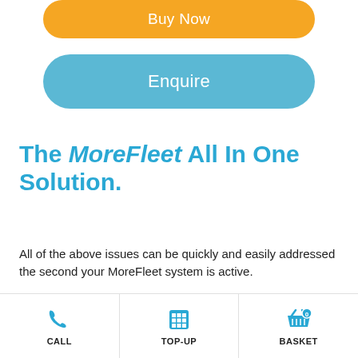[Figure (screenshot): Orange rounded 'Buy Now' button]
[Figure (screenshot): Light blue rounded 'Enquire' button]
The MoreFleet All In One Solution.
All of the above issues can be quickly and easily addressed the second your MoreFleet system is active.
With full visibility of your fleet in-field, fuel efficiency reports and instant alerts your entire fleet will be streamlined and optimised to
[Figure (screenshot): Blue circular chat/message button overlay on right side]
[Figure (screenshot): Bottom navigation bar with CALL, TOP-UP, and BASKET icons]